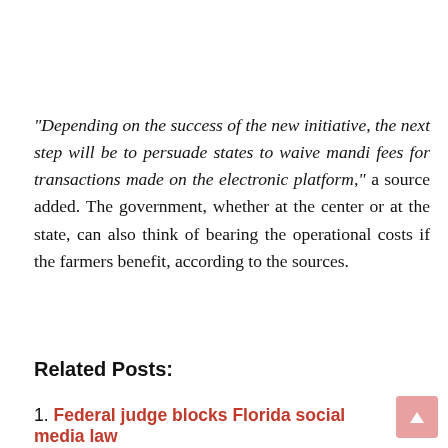“Depending on the success of the new initiative, the next step will be to persuade states to waive mandi fees for transactions made on the electronic platform,” a source added. The government, whether at the center or at the state, can also think of bearing the operational costs if the farmers benefit, according to the sources.
Related Posts:
1. Federal judge blocks Florida social media law